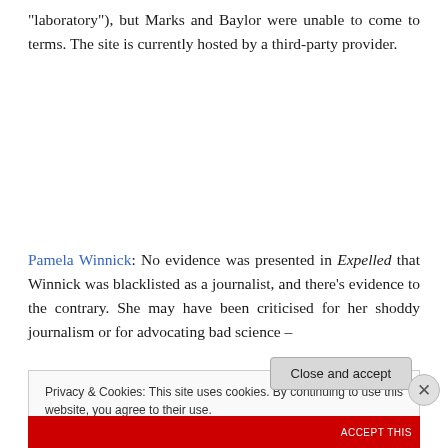“laboratory”), but Marks and Baylor were unable to come to terms. The site is currently hosted by a third-party provider.
Pamela Winnick: No evidence was presented in Expelled that Winnick was blacklisted as a journalist, and there’s evidence to the contrary. She may have been criticised for her shoddy journalism or for advocating bad science –
Privacy & Cookies: This site uses cookies. By continuing to use this website, you agree to their use.
To find out more, including how to control cookies, see here: Cookie Policy